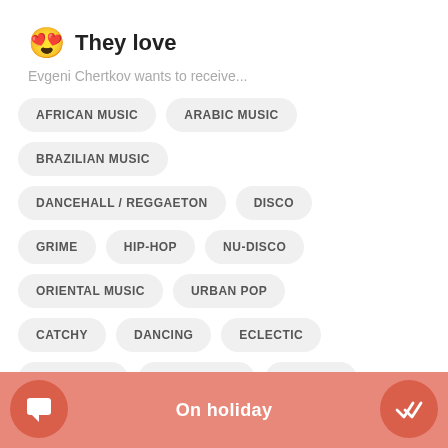They love
Evgeni Chertkov wants to receive...
AFRICAN MUSIC
ARABIC MUSIC
BRAZILIAN MUSIC
DANCEHALL / REGGAETON
DISCO
GRIME
HIP-HOP
NU-DISCO
ORIENTAL MUSIC
URBAN POP
CATCHY
DANCING
ECLECTIC
ENERGETIC
GOOD VIBES
GROOVY
On holiday